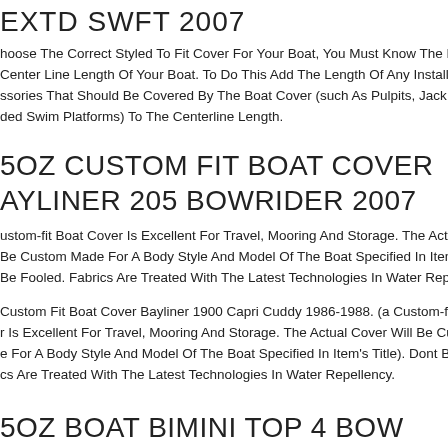EXTD SWFT 2007
hoose The Correct Styled To Fit Cover For Your Boat, You Must Know The Beam W Center Line Length Of Your Boat. To Do This Add The Length Of Any Installed ssories That Should Be Covered By The Boat Cover (such As Pulpits, Jack Plates, ded Swim Platforms) To The Centerline Length.
5OZ CUSTOM FIT BOAT COVER AYLINER 205 BOWRIDER 2007
ustom-fit Boat Cover Is Excellent For Travel, Mooring And Storage. The Actual Cov Be Custom Made For A Body Style And Model Of The Boat Specified In Item's Title Be Fooled. Fabrics Are Treated With The Latest Technologies In Water Repellen
Custom Fit Boat Cover Bayliner 1900 Capri Cuddy 1986-1988. (a Custom-fit Boat r Is Excellent For Travel, Mooring And Storage. The Actual Cover Will Be Custom e For A Body Style And Model Of The Boat Specified In Item's Title). Dont Be Fool cs Are Treated With The Latest Technologies In Water Repellency.
5OZ BOAT BIMINI TOP 4 BOW AYLINER 217 DECK BOAT O/B 2007